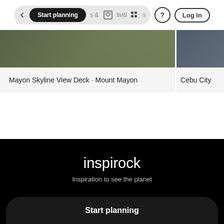Start planning  &  Activities  ?  Log in
Mayon Skyline View Deck · Mount Mayon
Cebu City
[Figure (screenshot): Navigation UI screenshot of a travel planning website with a search/navigation bar at top showing 'Start planning' pill button, itineraries and activities icons, help icon, and Log in button. Below is a card carousel showing 'Mayon Skyline View Deck · Mount Mayon' and partially visible 'Cebu City'. A black footer section shows the 'inspirock' logo and tagline 'Inspiration to see the planet', with a 'Start planning' call-to-action button at the bottom.]
inspirock
Inspiration to see the planet
Start planning